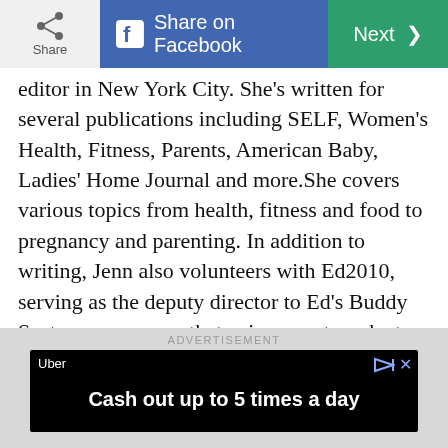Share | Share on Facebook | Next >
editor in New York City. She's written for several publications including SELF, Women's Health, Fitness, Parents, American Baby, Ladies' Home Journal and more.She covers various topics from health, fitness and food to pregnancy and parenting. In addition to writing, Jenn also volunteers with Ed2010, serving as the deputy director to Ed's Buddy System, a program that pairs recent graduates with young editors to give them a guide to the publishing industry and to navigating New York.When she's not busy writing, editing or reading, she's enjoying and discovering the city she's always dreamed of living in with her loving fiancé, Dan, and two feline friends, Janis and Jimi. Visit her website:
[Figure (other): Advertisement banner for Uber: 'Cash out up to 5 times a day']